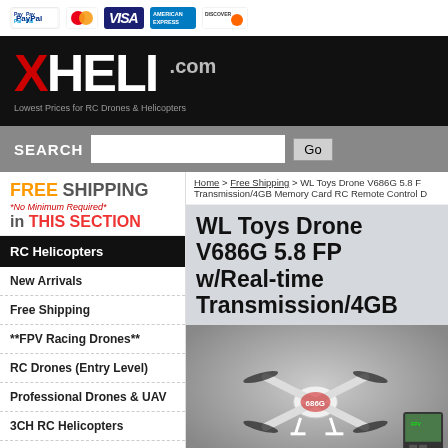[Figure (logo): Payment method icons: PayPal, MasterCard, Visa, American Express, Discover]
[Figure (logo): XHeli.com logo on black background with tagline: Lowest Prices for RC Drones & Helicopters]
SEARCH [input box] Go
FREE SHIPPING *No Minimum Required* in THIS SECTION
RC Helicopters
New Arrivals
Free Shipping
**FPV Racing Drones**
RC Drones (Entry Level)
Professional Drones & UAV
3CH RC Helicopters
Home > Free Shipping > WL Toys Drone V686G 5.8 FP Transmission/4GB Memory Card RC Remote Control D
WL Toys Drone V686G 5.8 FP w/Real-time Transmission/4GB
[Figure (photo): WL Toys Drone V686G quadcopter in white and red with FPV monitor accessory shown in background]